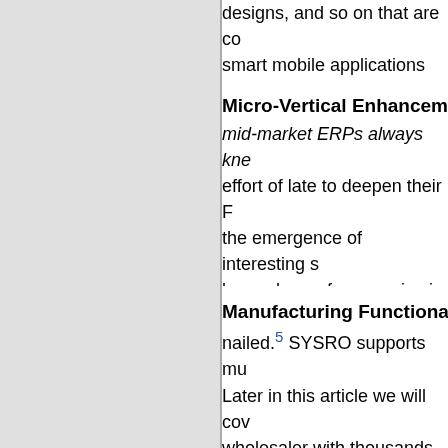designs, and so on that are co… smart mobile applications anc…
Micro-Vertical Enhancement
mid-market ERPs always kne… effort of late to deepen their F… the emergence of interesting s… large share of companies in th… this sector.
Manufacturing Functionality
nailed.5 SYSRO supports mu… Later in this article we will cov… wholesaler with thousands of… companies.
Rochester Electronics
Mike Murray, Manager of Info… Electronics, gave a compelling… at Rochester Electronics due… implementation. As we are bo… I spent some time talking to M… his career and the origins of R… Rochester Electronics builds s…